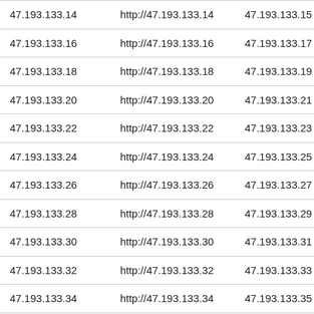| 47.193.133.14 | http://47.193.133.14 | 47.193.133.15 | http:// |
| 47.193.133.16 | http://47.193.133.16 | 47.193.133.17 | http:// |
| 47.193.133.18 | http://47.193.133.18 | 47.193.133.19 | http:// |
| 47.193.133.20 | http://47.193.133.20 | 47.193.133.21 | http:// |
| 47.193.133.22 | http://47.193.133.22 | 47.193.133.23 | http:// |
| 47.193.133.24 | http://47.193.133.24 | 47.193.133.25 | http:// |
| 47.193.133.26 | http://47.193.133.26 | 47.193.133.27 | http:// |
| 47.193.133.28 | http://47.193.133.28 | 47.193.133.29 | http:// |
| 47.193.133.30 | http://47.193.133.30 | 47.193.133.31 | http:// |
| 47.193.133.32 | http://47.193.133.32 | 47.193.133.33 | http:// |
| 47.193.133.34 | http://47.193.133.34 | 47.193.133.35 | http:// |
| 47.193.133.36 | http://47.193.133.36 | 47.193.133.37 | http:// |
| 47.193.133.38 | http://47.193.133.38 | 47.193.133.39 | http:// |